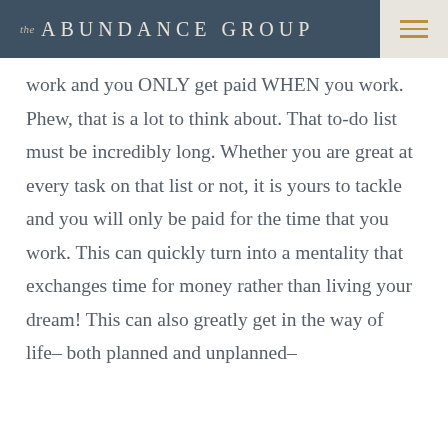the ABUNDANCE GROUP
work and you ONLY get paid WHEN you work. Phew, that is a lot to think about. That to-do list must be incredibly long. Whether you are great at every task on that list or not, it is yours to tackle and you will only be paid for the time that you work. This can quickly turn into a mentality that exchanges time for money rather than living your dream! This can also greatly get in the way of life– both planned and unplanned–